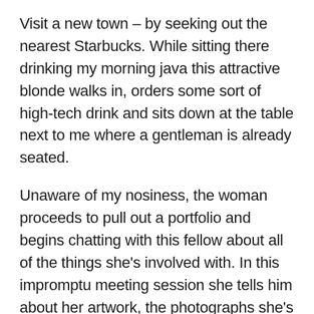Visit a new town – by seeking out the nearest Starbucks. While sitting there drinking my morning java this attractive blonde walks in, orders some sort of high-tech drink and sits down at the table next to me where a gentleman is already seated.
Unaware of my nosiness, the woman proceeds to pull out a portfolio and begins chatting with this fellow about all of the things she's involved with. In this impromptu meeting session she tells him about her artwork, the photographs she's taken for local magazines, how she's in the process of making a video for some musical group I've never heard of, but one which made the dude sitting across from